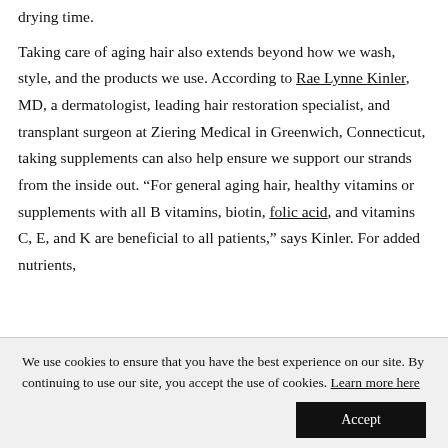drying time.
Taking care of aging hair also extends beyond how we wash, style, and the products we use. According to Rae Lynne Kinler, MD, a dermatologist, leading hair restoration specialist, and transplant surgeon at Ziering Medical in Greenwich, Connecticut, taking supplements can also help ensure we support our strands from the inside out. “For general aging hair, healthy vitamins or supplements with all B vitamins, biotin, folic acid, and vitamins C, E, and K are beneficial to all patients,” says Kinler. For added nutrients,
We use cookies to ensure that you have the best experience on our site. By continuing to use our site, you accept the use of cookies. Learn more here